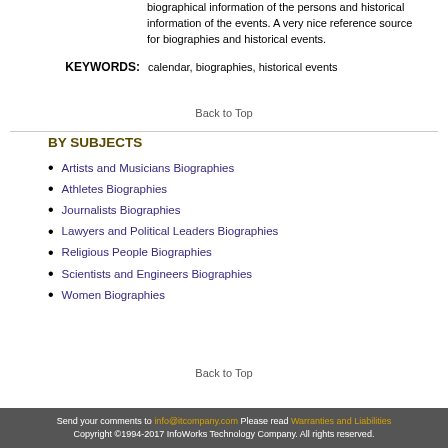biographical information of the persons and historical information of the events. A very nice reference source for biographies and historical events.
KEYWORDS: calendar, biographies, historical events
Back to Top
BY SUBJECTS
Artists and Musicians Biographies
Athletes Biographies
Journalists Biographies
Lawyers and Political Leaders Biographies
Religious People Biographies
Scientists and Engineers Biographies
Women Biographies
Back to Top
Send your comments to info@itcompany.com Please read Warranties and Liabilities Copyright ©1994-2017 InfoWorks Technology Company. All rights reserved.